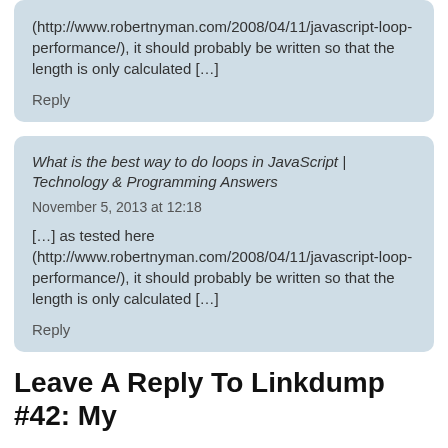(http://www.robertnyman.com/2008/04/11/javascript-loop-performance/), it should probably be written so that the length is only calculated […]
Reply
What is the best way to do loops in JavaScript | Technology & Programming Answers
November 5, 2013 at 12:18
[…] as tested here (http://www.robertnyman.com/2008/04/11/javascript-loop-performance/), it should probably be written so that the length is only calculated […]
Reply
Leave A Reply To Linkdump #42: My